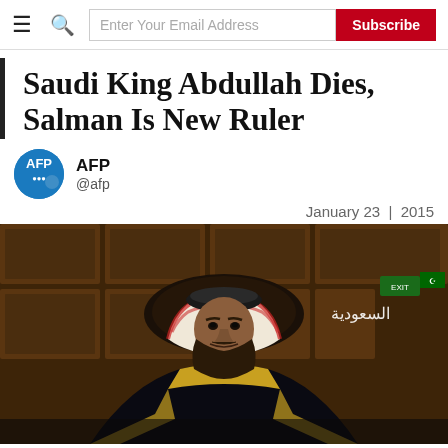≡  🔍  [Enter Your Email Address]  [Subscribe]
Saudi King Abdullah Dies, Salman Is New Ruler
AFP @afp
January 23 | 2015
[Figure (photo): Saudi King Salman bin Abdulaziz seated in an ornate wooden chair wearing traditional Saudi royal attire including a black bisht with gold trim and red-and-white keffiyeh, with Arabic text 'السعودية' (Saudi Arabia) visible in the upper right corner of what appears to be a television broadcast.]